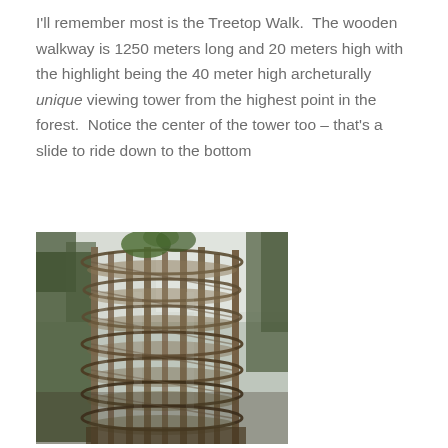I'll remember most is the Treetop Walk.  The wooden walkway is 1250 meters long and 20 meters high with the highlight being the 40 meter high archeturally unique viewing tower from the highest point in the forest.  Notice the center of the tower too – that's a slide to ride down to the bottom
[Figure (photo): A tall wooden spiral viewing tower structure (Treetop Walk tower) photographed from below looking upward, showing the multi-level circular walkway platforms and vertical wooden posts, with trees visible in the background against an overcast sky.]